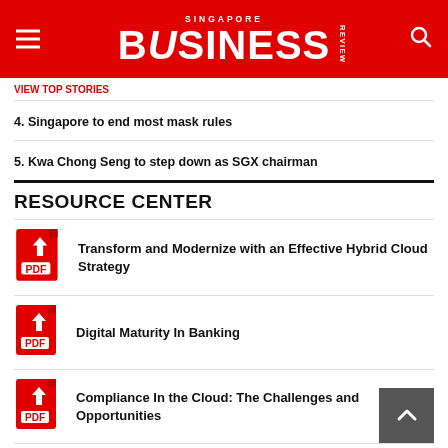Singapore Business Review
4. Singapore to end most mask rules
5. Kwa Chong Seng to step down as SGX chairman
RESOURCE CENTER
Transform and Modernize with an Effective Hybrid Cloud Strategy
Digital Maturity In Banking
Compliance In the Cloud: The Challenges and Opportunities
Reimagining Agility